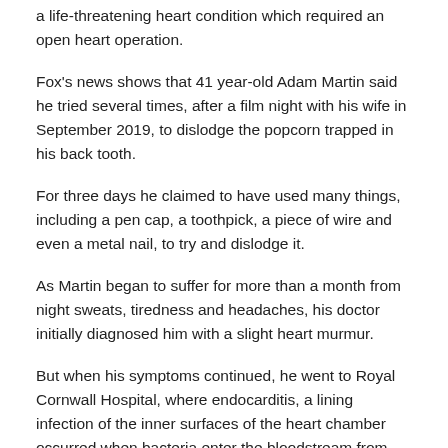a life-threatening heart condition which required an open heart operation.
Fox's news shows that 41 year-old Adam Martin said he tried several times, after a film night with his wife in September 2019, to dislodge the popcorn trapped in his back tooth.
For three days he claimed to have used many things, including a pen cap, a toothpick, a piece of wire and even a metal nail, to try and dislodge it.
As Martin began to suffer for more than a month from night sweats, tiredness and headaches, his doctor initially diagnosed him with a slight heart murmur.
But when his symptoms continued, he went to Royal Cornwall Hospital, where endocarditis, a lining infection of the inner surfaces of the heart chamber occurred when bacteria enter the bloodstream from the mouth and from elsewhere. Chest scans showed that the infection had weakened his heart.